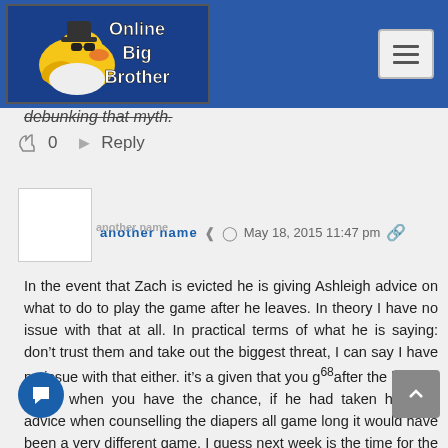Online Big Brother
debunking that myth.
👍 0   ↪ Reply
[Figure (illustration): User avatar placeholder — blank white square]
another name  ⟨share⟩  🕐 May 18, 2015 11:47 pm  🔗
In the event that Zach is evicted he is giving Ashleigh advice on what to do to play the game after he leaves. In theory I have no issue with that at all. In practical terms of what he is saying: don't trust them and take out the biggest threat, I can say I have no issue with that either. it's a given that you go after the biggest threat when you have the chance, if he had taken his own advice when counselling the diapers all game long it would have been a very different game. I guess next week is the time for the big move now. At least